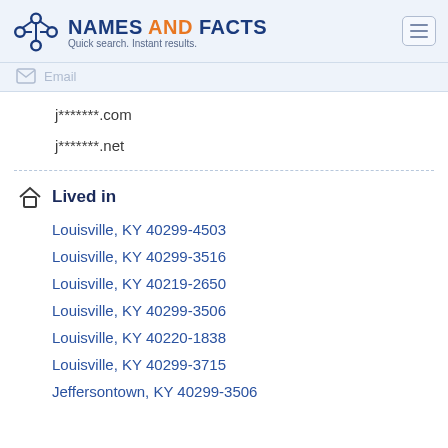NAMES AND FACTS — Quick search. Instant results.
Email
j*******.com
j*******.net
Lived in
Louisville, KY 40299-4503
Louisville, KY 40299-3516
Louisville, KY 40219-2650
Louisville, KY 40299-3506
Louisville, KY 40220-1838
Louisville, KY 40299-3715
Jeffersontown, KY 40299-3506